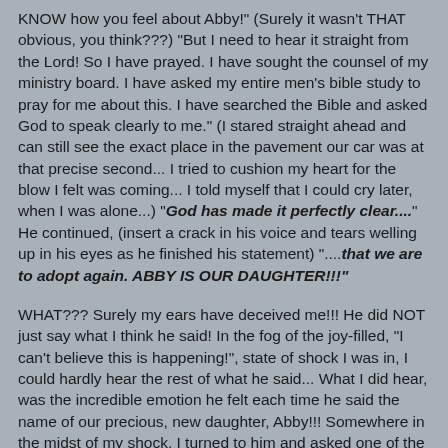KNOW how you feel about Abby!" (Surely it wasn't THAT obvious, you think???)  "But I need to hear it straight from the Lord!  So I have prayed.  I have sought the counsel of my ministry board.  I have asked my entire men's bible study to pray for me about this.  I have searched the Bible and asked God to speak clearly to me."  (I stared straight ahead and can still see the exact place in the pavement our car was at that precise second...  I tried to cushion my heart for the blow I felt was coming...  I told myself that I could cry later, when I was alone...)   "God has made it perfectly clear...."  He continued, (insert a crack in his voice and tears welling up in his eyes as he finished his statement)  "....that we are to adopt again.  ABBY IS OUR DAUGHTER!!!"
WHAT???  Surely my ears have deceived me!!!  He did NOT just say what I think he said!  In the fog of the joy-filled, "I can't believe this is happening!", state of shock I was in, I could hardly hear the rest of what he said...  What I did hear, was the incredible emotion he felt each time he said the name of our precious, new daughter, Abby!!!  Somewhere in the midst of my shock, I turned to him and asked one of the dumbest questions of the century....  "Are you scared?"  He